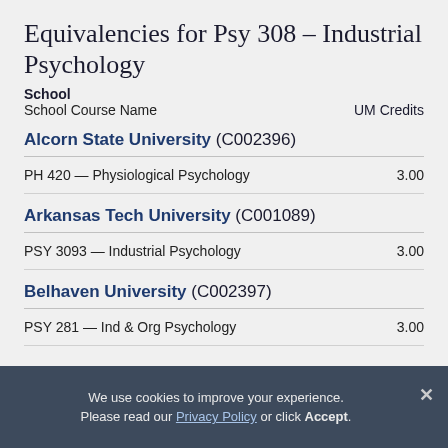Equivalencies for Psy 308 – Industrial Psychology
| School
School Course Name | UM Credits |
| --- | --- |
| Alcorn State University (C002396) |  |
| PH 420 — Physiological Psychology | 3.00 |
| Arkansas Tech University (C001089) |  |
| PSY 3093 — Industrial Psychology | 3.00 |
| Belhaven University (C002397) |  |
| PSY 281 — Ind & Org Psychology | 3.00 |
We use cookies to improve your experience. Please read our Privacy Policy or click Accept.